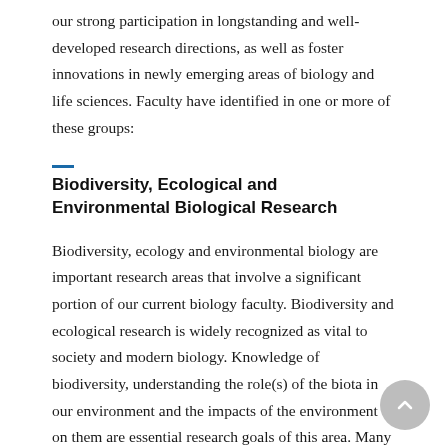our strong participation in longstanding and well-developed research directions, as well as foster innovations in newly emerging areas of biology and life sciences. Faculty have identified in one or more of these groups:
Biodiversity, Ecological and Environmental Biological Research
Biodiversity, ecology and environmental biology are important research areas that involve a significant portion of our current biology faculty. Biodiversity and ecological research is widely recognized as vital to society and modern biology. Knowledge of biodiversity, understanding the role(s) of the biota in our environment and the impacts of the environment on them are essential research goals of this area. Many innovative research projects are underway on various aspects of biodiversity